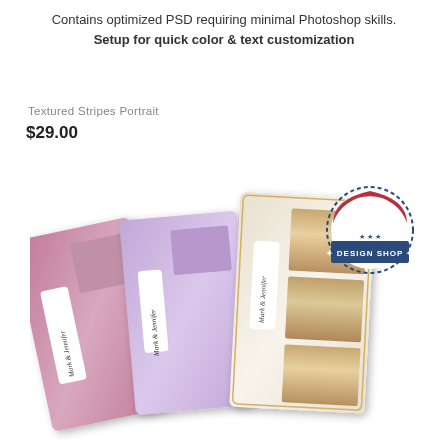Contains optimized PSD requiring minimal Photoshop skills.
Setup for quick color & text customization
Textured Stripes Portrait
$29.00
[Figure (photo): Three photo booth strip cards (pink, lavender, cream/white) fanned out showing portrait photos of a young woman with curly blonde hair, with a 'Photo Booth Owners Design Shop' badge in the top right corner]